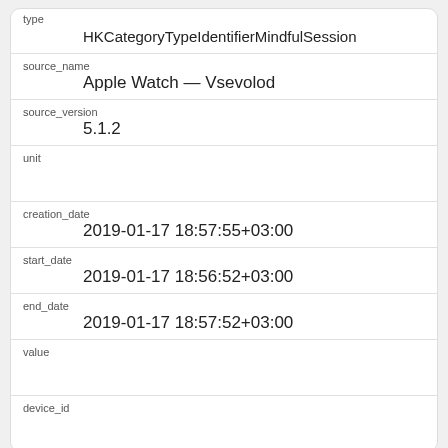| type | HKCategoryTypeIdentifierMindfulSession |
| source_name | Apple Watch — Vsevolod |
| source_version | 5.1.2 |
| unit |  |
| creation_date | 2019-01-17 18:57:55+03:00 |
| start_date | 2019-01-17 18:56:52+03:00 |
| end_date | 2019-01-17 18:57:52+03:00 |
| value |  |
| device_id |  |
| id | 367982 |
| type |  |